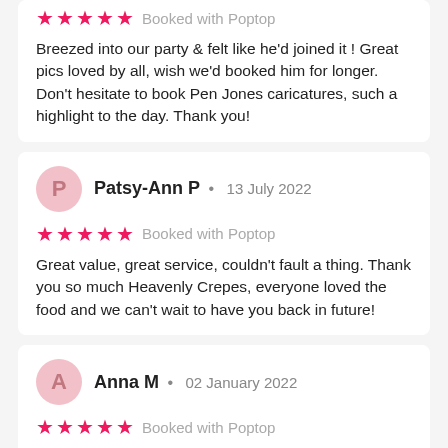★★★★★  Booked with Poptop
Breezed into our party & felt like he'd joined it ! Great pics loved by all, wish we'd booked him for longer. Don't hesitate to book Pen Jones caricatures, such a highlight to the day. Thank you!
Patsy-Ann P  •  13 July 2022
★★★★★  Booked with Poptop
Great value, great service, couldn't fault a thing. Thank you so much Heavenly Crepes, everyone loved the food and we can't wait to have you back in future!
Anna M  •  02 January 2022
★★★★★  Booked with Poptop